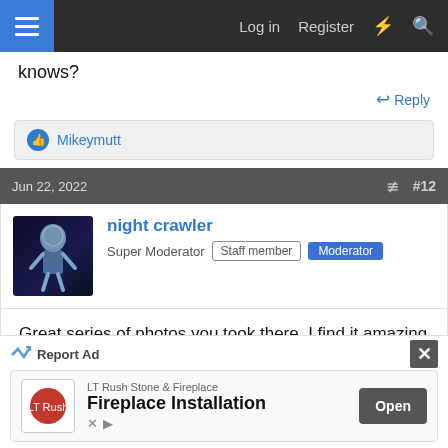Log in  Register
knows?
Reply
Mikeymutt
Jun 22, 2022  #12
night crawler
Super Moderator  Staff member  Moderator
Great series of photos you took there. I find it amazing that a place like that can just get abandoned and left, why not re use it. Surly they sill maintain thing on Network rail
Report Ad
LT Rush Stone & Fireplace
Fireplace Installation
Open